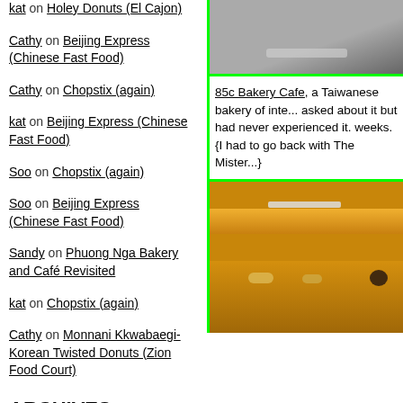kat on Holey Donuts (El Cajon)
Cathy on Beijing Express (Chinese Fast Food)
Cathy on Chopstix (again)
kat on Beijing Express (Chinese Fast Food)
Soo on Chopstix (again)
Soo on Beijing Express (Chinese Fast Food)
Sandy on Phuong Nga Bakery and Café Revisited
kat on Chopstix (again)
Cathy on Monnani Kkwabaegi-Korean Twisted Donuts (Zion Food Court)
ARCHIVES
August 2022
July 2022
June 2022
May 2022
April 2022
[Figure (photo): Interior ceiling photo, grayscale/dark tones]
85c Bakery Cafe, a Taiwanese bakery of inte... asked about it but had never experienced it. weeks. {I had to go back with The Mister...}
[Figure (photo): Interior counter photo, warm orange/amber tones with lighting details]